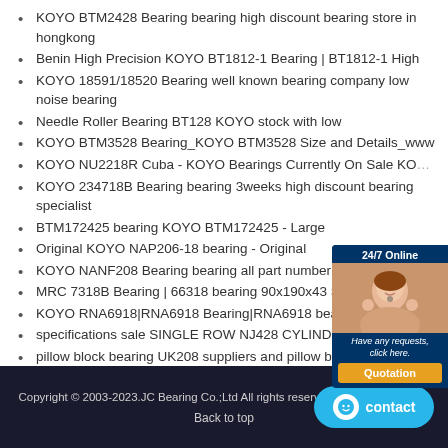KOYO BTM2428 Bearing bearing high discount bearing store in hongkong
Benin High Precision KOYO BT1812-1 Bearing | BT1812-1 High
KOYO 18591/18520 Bearing well known bearing company low noise bearing
Needle Roller Bearing BT128 KOYO stock with low
KOYO BTM3528 Bearing_KOYO BTM3528 Size and Details_www
KOYO NU2218R Cuba - KOYO Bearings Currently On Sale KOY...
KOYO 234718B Bearing bearing 3weeks high discount bearing specialist
BTM172425 bearing KOYO BTM172425 - Large
Original KOYO NAP206-18 bearing - Original
KOYO NANF208 Bearing bearing all part number shop bearing...
MRC 7318B Bearing | 66318 bearing 90x190x43 Size - Angular
KOYO RNA6918|RNA6918 Bearing|RNA6918 bearing
specifications sale SINGLE ROW NJ428 CYLINDRICAL ROLLER
pillow block bearing UK208 suppliers and pillow block
Copyright © 2003-2023.JC Bearing Co.;Ltd All rights reserved. | bearing-sale.com
Back to top